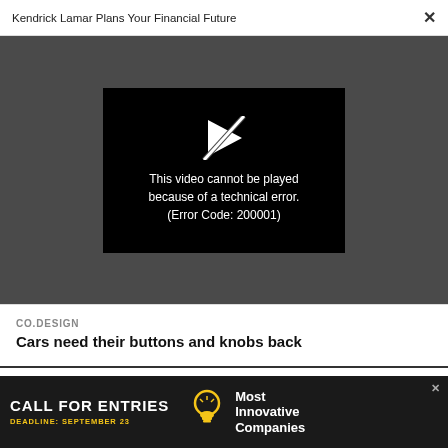Kendrick Lamar Plans Your Financial Future  ×
[Figure (screenshot): Video player showing error: 'This video cannot be played because of a technical error. (Error Code: 200001)' with a broken play icon on dark background]
CO.DESIGN
Cars need their buttons and knobs back
WORK LIFE
[Figure (infographic): Advertisement banner: 'CALL FOR ENTRIES — DEADLINE: SEPTEMBER 23 — Most Innovative Companies' with lightbulb icon, dark background]